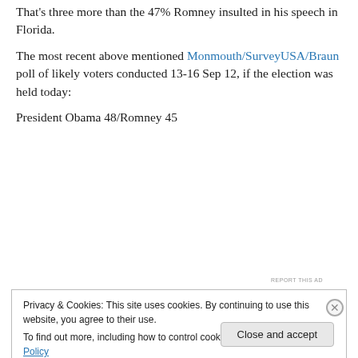That's three more than the 47% Romney insulted in his speech in Florida.
The most recent above mentioned Monmouth/SurveyUSA/Braun poll of likely voters conducted 13-16 Sep 12, if the election was held today:
President Obama 48/Romney 45
[Figure (other): Advertisement banner with dark navy background reading 'Opinions. We all have them!' with WordPress and Blogging logos]
REPORT THIS AD
Privacy & Cookies: This site uses cookies. By continuing to use this website, you agree to their use.
To find out more, including how to control cookies, see here: Cookie Policy
Close and accept